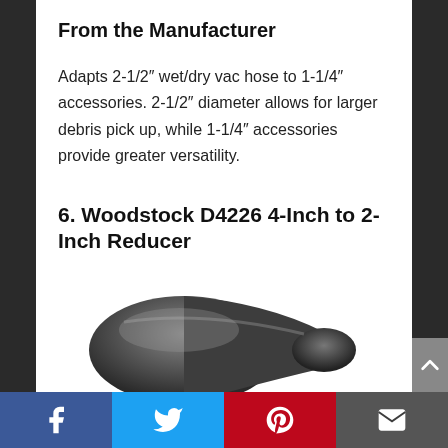From the Manufacturer
Adapts 2-1/2″ wet/dry vac hose to 1-1/4″ accessories. 2-1/2″ diameter allows for larger debris pick up, while 1-1/4″ accessories provide greater versatility.
6. Woodstock D4226 4-Inch to 2-Inch Reducer
[Figure (photo): Dark gray plastic reducer fitting (4-inch to 2-inch) shown from above, partially cropped at bottom of page.]